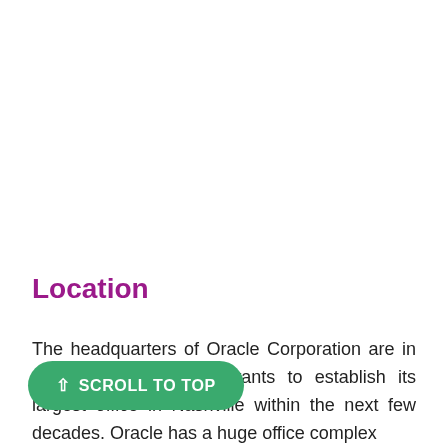Location
The headquarters of Oracle Corporation are in Austin, Texas. Oracle wants to establish its largest office in Nashville within the next few decades. Oracle has a huge office complex in Redwood Shores, Redwood City, California.